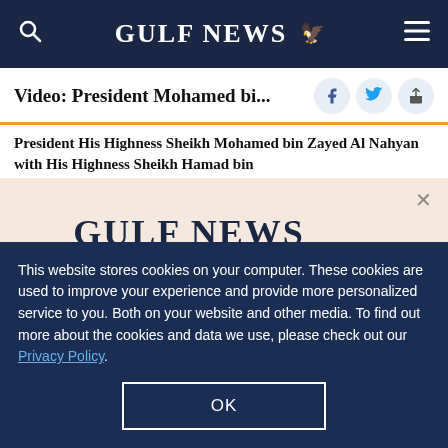GULF NEWS
Video: President Mohamed bi...
President His Highness Sheikh Mohamed bin Zayed Al Nahyan with His Highness Sheikh Hamad bin
[Figure (logo): Gulf News logo with eagle icon and text 'GULF NEWS']
A special offer for our readers
Get the two years All-Access subscription now
This website stores cookies on your computer. These cookies are used to improve your experience and provide more personalized service to you. Both on your website and other media. To find out more about the cookies and data we use, please check out our Privacy Policy.
OK